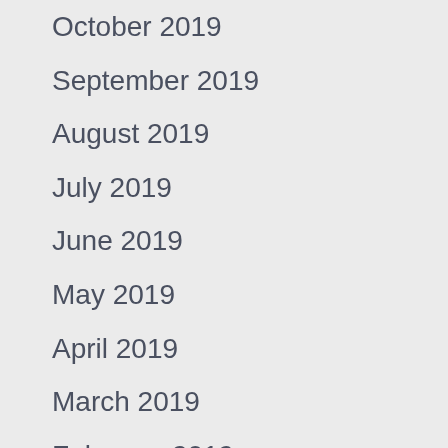October 2019
September 2019
August 2019
July 2019
June 2019
May 2019
April 2019
March 2019
February 2019
January 2019
October 2018
September 2018
August 2018